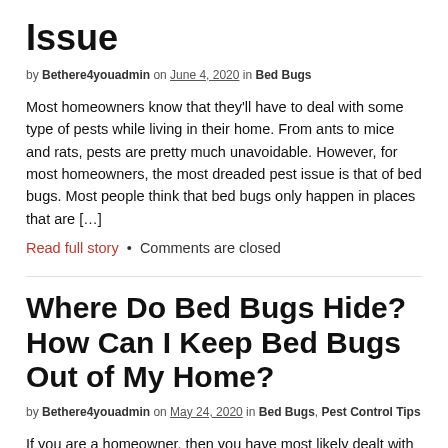Issue
by Bethere4youadmin on June 4, 2020 in Bed Bugs
Most homeowners know that they'll have to deal with some type of pests while living in their home. From ants to mice and rats, pests are pretty much unavoidable. However, for most homeowners, the most dreaded pest issue is that of bed bugs. Most people think that bed bugs only happen in places that are […]
Read full story  •  Comments are closed
Where Do Bed Bugs Hide? How Can I Keep Bed Bugs Out of My Home?
by Bethere4youadmin on May 24, 2020 in Bed Bugs, Pest Control Tips
If you are a homeowner, then you have most likely dealt with some type of pest inside your residence, most commonly wasps, bees, ants,